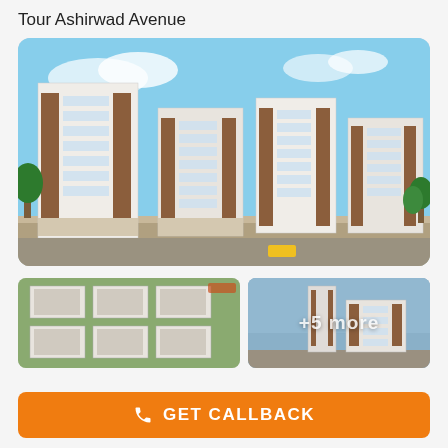Tour Ashirwad Avenue
[Figure (photo): Exterior rendering of Ashirwad Avenue residential apartment complex showing multiple white and brown multi-storey buildings with blue sky background]
[Figure (photo): Aerial/bird's eye view rendering of Ashirwad Avenue apartment complex layout showing multiple building blocks with green areas]
[Figure (photo): Side view rendering of Ashirwad Avenue tall apartment building, with overlay text showing '+5 more']
GET CALLBACK